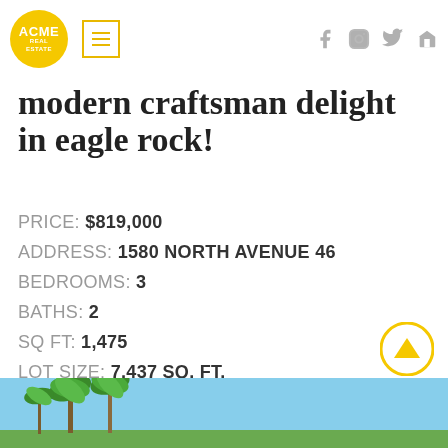ACME REAL ESTATE — navigation header with logo, menu, and social icons
modern craftsman delight in eagle rock!
PRICE: $819,000
ADDRESS: 1580 NORTH AVENUE 46
BEDROOMS: 3
BATHS: 2
SQ FT: 1,475
LOT SIZE: 7,437 SQ. FT.
[Figure (photo): Exterior photo of craftsman house with palm trees against blue sky]